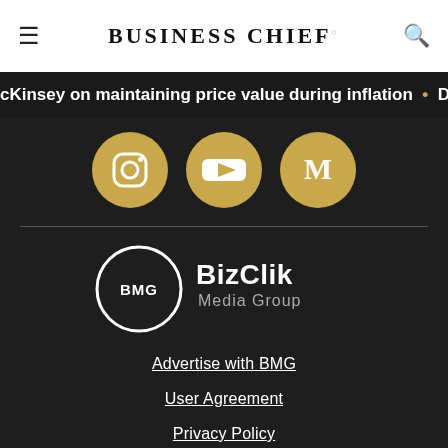BUSINESS CHIEF
cKinsey on maintaining price value during inflation • Di
[Figure (logo): Three social media icons (Instagram, YouTube, Medium) as golden circles on dark background]
[Figure (logo): BizClik Media Group logo — circle with BMG text and BizClik Media Group wordmark, white on dark background]
Advertise with BMG
User Agreement
Privacy Policy